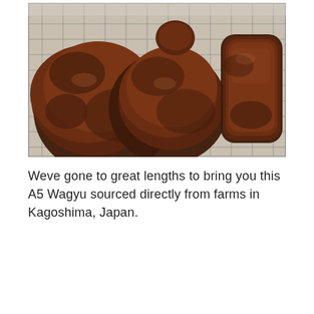[Figure (photo): Three large seared/roasted cuts of A5 Wagyu beef resting on a wire cooling rack over a metal baking sheet. The steaks have a dark, caramelized crust. Background is a light surface.]
Weve gone to great lengths to bring you this A5 Wagyu sourced directly from farms in Kagoshima, Japan.